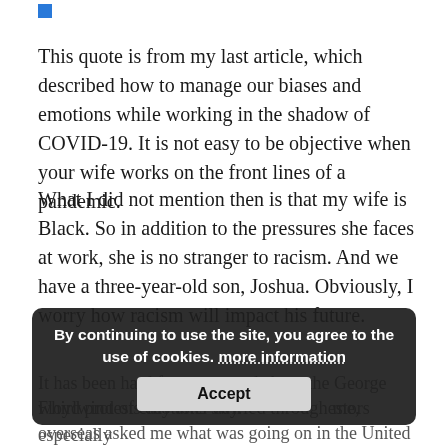This quote is from my last article, which described how to manage our biases and emotions while working in the shadow of COVID-19. It is not easy to be objective when your wife works on the front lines of a pandemic.
What I did not mention then is that my wife is Black. So in addition to the pressures she faces at work, she is no stranger to racism. And we have a three-year-old son, Joshua. Obviously, I worry how racism will impact his future.
By continuing to use the site, you agree to the use of cookies. more information
Accept
It has been hard for me to read about the George Floyd protests day after day. [investors overseas asked me what was going on in the United States, a whirlwind of emotions swirled through me, especially